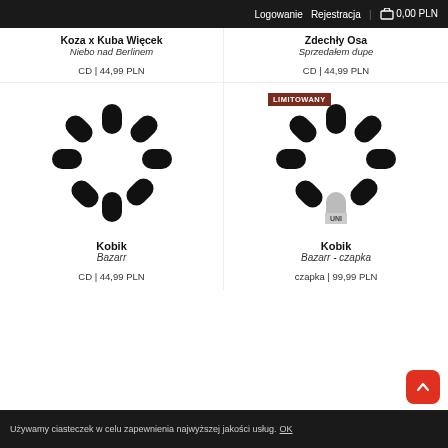Logowanie | Rejestracja | 0,00 PLN
Koza x Kuba Więcek
Niebo nad Berlinem
CD | 44,99 PLN
Zdechly Osa
Sprzedałem dupe
CD | 44,99 PLN
[Figure (illustration): Loading spinner / product image placeholder for Kobik Bazarr]
[Figure (illustration): Loading spinner / product image placeholder with LIMITOWANY badge and UNI size badge for Kobik Bazarr - czapka]
Kobik
Bazarr
CD | 44,99 PLN
Kobik
Bazarr - czapka
czapka | 99,99 PLN
Używamy ciasteczek w celu zapewnienia najwyższej jakości usług. OK